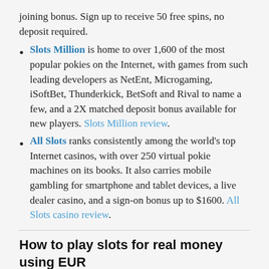joining bonus. Sign up to receive 50 free spins, no deposit required.
Slots Million is home to over 1,600 of the most popular pokies on the Internet, with games from such leading developers as NetEnt, Microgaming, iSoftBet, Thunderkick, BetSoft and Rival to name a few, and a 2X matched deposit bonus available for new players. Slots Million review.
All Slots ranks consistently among the world's top Internet casinos, with over 250 virtual pokie machines on its books. It also carries mobile gambling for smartphone and tablet devices, a live dealer casino, and a sign-on bonus up to $1600. All Slots casino review.
How to play slots for real money using EUR
Playing the slots for real money online is easy, even if